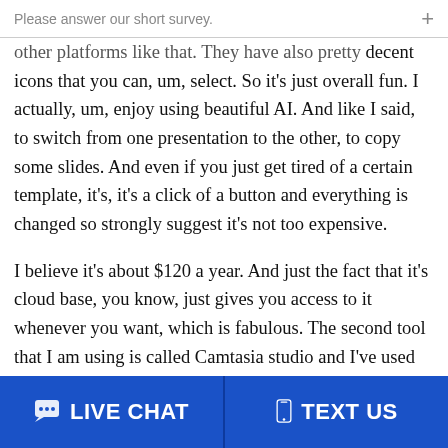Please answer our short survey.
other platforms like that. They have also pretty decent icons that you can, um, select. So it's just overall fun. I actually, um, enjoy using beautiful AI. And like I said, to switch from one presentation to the other, to copy some slides. And even if you just get tired of a certain template, it's, it's a click of a button and everything is changed so strongly suggest it's not too expensive.
I believe it's about $120 a year. And just the fact that it's cloud base, you know, just gives you access to it whenever you want, which is fabulous. The second tool that I am using is called Camtasia studio and I've used it, uh, quite a bit for many years. Actually. All of my videos that I record for my online program is
LIVE CHAT   TEXT US